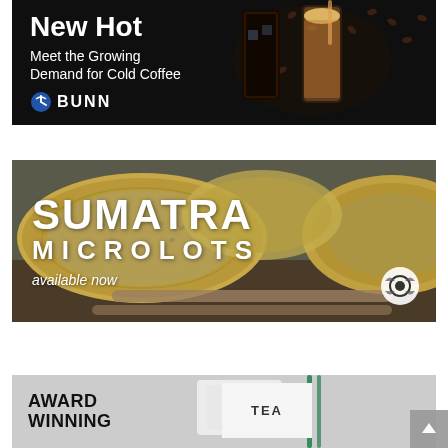[Figure (illustration): BUNN advertisement with black background. Left side shows text: 'New Hot', 'Meet the Growing Demand for Cold Coffee', BUNN logo. Right side shows cold coffee drinks and coffee beans.]
[Figure (photo): Sumatra Microlots advertisement. Shows woven baskets filled with green coffee beans on a wooden surface. Text overlay reads: 'SUMATRA MICROLOTS available now' with a coffee company logo in lower right.]
[Figure (illustration): Award Winning tea advertisement. Gray background with bold text 'AWARD WINNING' on left, tea cup and straw visible on right side. Partially cut off at bottom.]